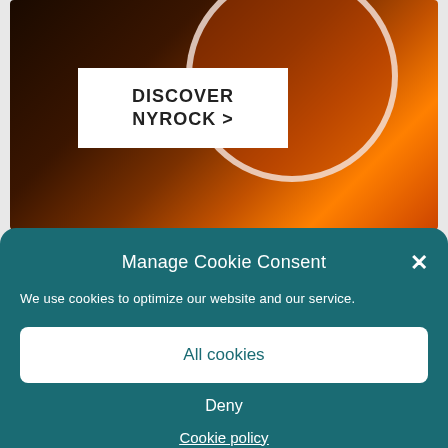[Figure (photo): Dark banner image with warm orange/amber tones showing abstract circular shapes and light streaks, with a white box containing 'DISCOVER NYROCK >' text]
[Figure (logo): ROCKWOOL logo on black background with red geometric triangle/diamond icon]
Manage Cookie Consent
We use cookies to optimize our website and our service.
All cookies
Deny
Cookie policy